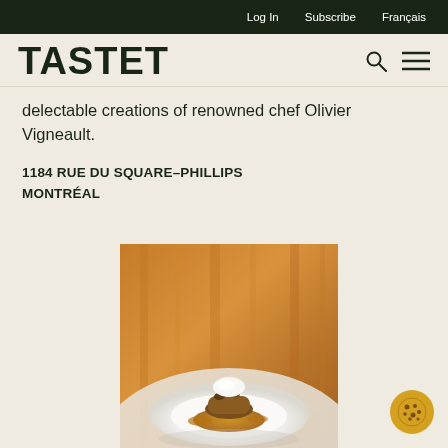Log In   Subscribe   Français
TASTET
delectable creations of renowned chef Olivier Vigneault.
1184 RUE DU SQUARE–PHILLIPS
MONTRÉAL
[Figure (photo): A fine dining dessert plated on a white bowl — a caramelized pastry with nuts and a white cream quenelle on top, sitting in a golden sauce, photographed against a warm amber/wood background.]